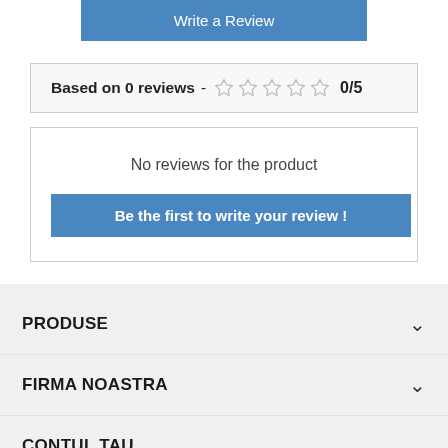[Figure (screenshot): Blue 'Write a Review' button]
Based on 0 reviews - ☆☆☆☆☆ 0/5
No reviews for the product
Be the first to write your review !
PRODUSE
FIRMA NOASTRA
CONTUL TAU
© 2022 - Software pentru comert electronic de Seeds